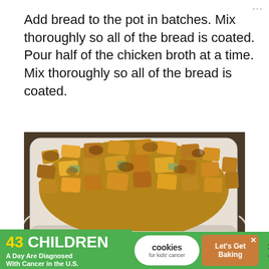Add bread to the pot in batches. Mix thoroughly so all of the bread is coated. Pour half of the chicken broth at a time. Mix thoroughly so all of the bread is coated.
[Figure (photo): A white rectangular baking dish filled with golden-brown bread stuffing/dressing with visible herbs and vegetables, set on a dark background.]
43 CHILDREN A Day Are Diagnosed With Cancer in the U.S.
cookies for kids' cancer
Let's Get Baking